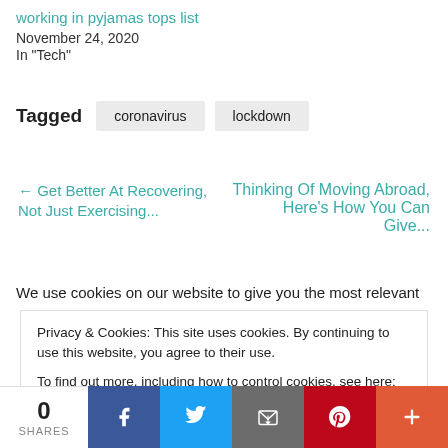working in pyjamas tops list
November 24, 2020
In "Tech"
Tagged  coronavirus  lockdown
← Get Better At Recovering,     Thinking Of Moving Abroad,
We use cookies on our website to give you the most relevant
Privacy & Cookies: This site uses cookies. By continuing to use this website, you agree to their use.
To find out more, including how to control cookies, see here: Cookie Policy
0
SHARES